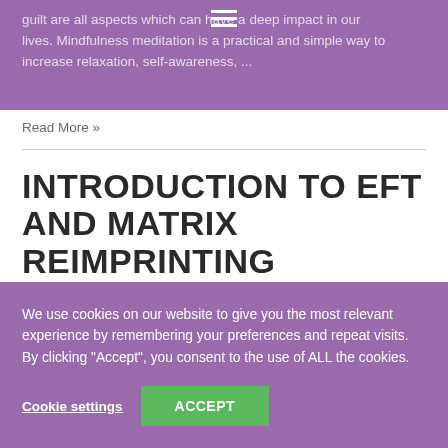guilt are all aspects which can have a deep impact in our lives. Mindfulness meditation is a practical and simple way to increase relaxation, self-awareness, ...
Read More »
INTRODUCTION TO EFT AND MATRIX REIMPRINTING
We use cookies on our website to give you the most relevant experience by remembering your preferences and repeat visits. By clicking "Accept", you consent to the use of ALL the cookies.
Cookie settings
ACCEPT